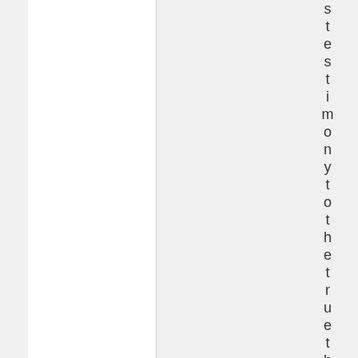s t e s t i m o n y t o t h e t r u e t h o f J e s u